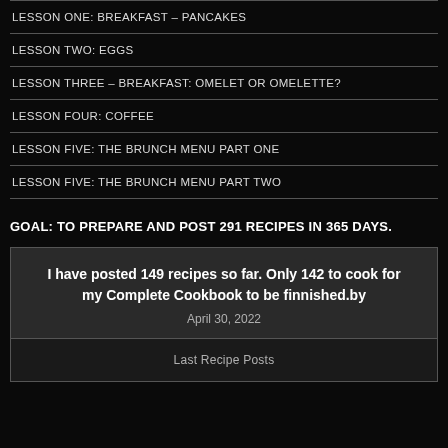LESSON ONE: BREAKFAST – PANCAKES
LESSON TWO: EGGS
LESSON THREE – BREAKFAST: OMELET OR OMELETTE?
LESSON FOUR: COFFEE
LESSON FIVE: THE BRUNCH MENU PART ONE
LESSON FIVE: THE BRUNCH MENU PART TWO
GOAL: TO PREPARE AND POST 291 RECIPES IN 365 DAYS.
I have posted 149 recipes so far. Only 142 to cook for my Complete Cookbook to be finnished.by
April 30, 2022
Last Recipe Posts